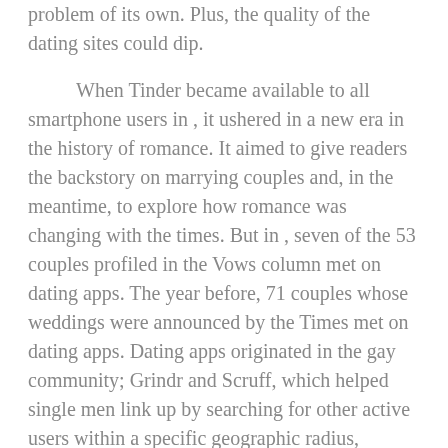problem of its own. Plus, the quality of the dating sites could dip.
When Tinder became available to all smartphone users in , it ushered in a new era in the history of romance. It aimed to give readers the backstory on marrying couples and, in the meantime, to explore how romance was changing with the times. But in , seven of the 53 couples profiled in the Vows column met on dating apps. The year before, 71 couples whose weddings were announced by the Times met on dating apps. Dating apps originated in the gay community; Grindr and Scruff, which helped single men link up by searching for other active users within a specific geographic radius, launched in and , respectively. With the launch of Tinder in , iPhone-owning people of all sexualities could start looking for love, or sex, or casual dating, and it quickly became the most popular dating app on the market.